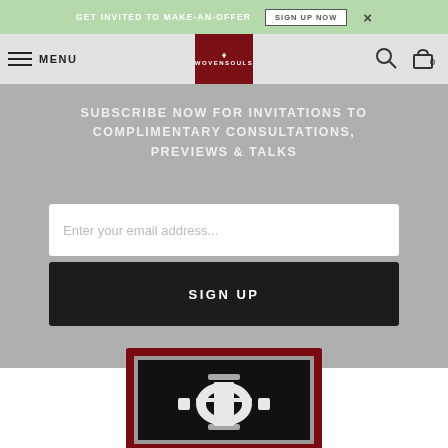GET INVITED TO MAKE-AN-OFFER  SIGN UP NOW  ×
MENU  WOVENSOULS  [search] [cart] 0
SUBSCRIBE NOW FOR INVITATIONS TO COMPLIMENTARY CONSULTATIONS, PREVIEWS & TALKS
Enter your email address...
SIGN UP
[Figure (photo): A framed textile or rug with dark background featuring intricate white/silver traditional woven pattern, set in a deep red/dark red frame, partially visible at bottom of page.]